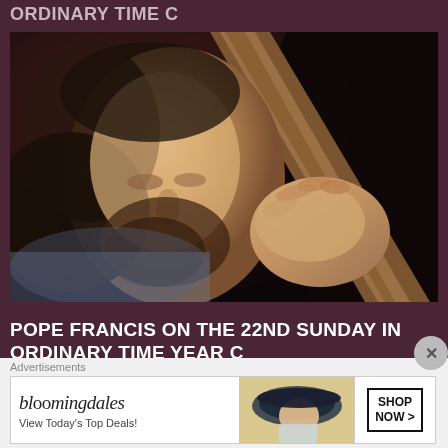ORDINARY TIME C
[Figure (illustration): Classical painting of Jesus Christ carrying the cross, close-up portrait showing his face bowed down and his hand gripping the wooden cross over his shoulder]
POPE FRANCIS ON THE 22ND SUNDAY IN ORDINARY TIME YEAR C
[Figure (photo): Partial image of a woman's face/head at the bottom of the content area]
Advertisements
[Figure (screenshot): Bloomingdales advertisement banner showing logo, 'View Today's Top Deals!' text, woman with hat, and 'SHOP NOW >' button]